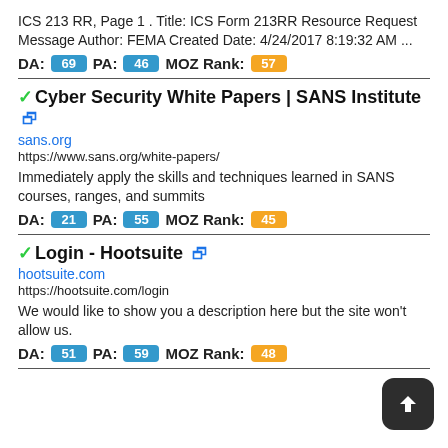ICS 213 RR, Page 1 . Title: ICS Form 213RR Resource Request Message Author: FEMA Created Date: 4/24/2017 8:19:32 AM ...
DA: 69  PA: 46  MOZ Rank: 57
Cyber Security White Papers | SANS Institute
sans.org
https://www.sans.org/white-papers/
Immediately apply the skills and techniques learned in SANS courses, ranges, and summits
DA: 21  PA: 55  MOZ Rank: 45
Login - Hootsuite
hootsuite.com
https://hootsuite.com/login
We would like to show you a description here but the site won't allow us.
DA: 51  PA: 59  MOZ Rank: 48